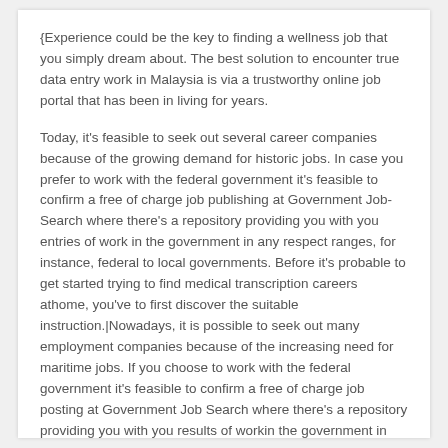{Experience could be the key to finding a wellness job that you simply dream about. The best solution to encounter true data entry work in Malaysia is via a trustworthy online job portal that has been in living for years.
Today, it's feasible to seek out several career companies because of the growing demand for historic jobs. In case you prefer to work with the federal government it's feasible to confirm a free of charge job publishing at Government Job-Search where there's a repository providing you with you entries of work in the government in any respect ranges, for instance, federal to local governments. Before it's probable to get started trying to find medical transcription careers athome, you've to first discover the suitable instruction.|Nowadays, it is possible to seek out many employment companies because of the increasing need for maritime jobs. If you choose to work with the federal government it's feasible to confirm a free of charge job posting at Government Job Search where there's a repository providing you with you results of workin the government in any respect quantities, for example, federal to local authorities. Before it's probable to get going trying to find medical